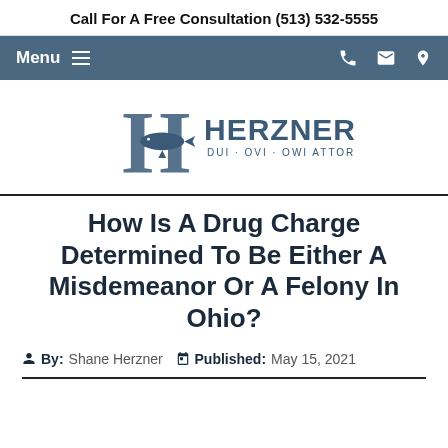Call For A Free Consultation (513) 532-5555
[Figure (logo): Herzner Law logo with shark inside letter H and text HERZNER LAW DUI · OVI · OWI ATTORNEY]
How Is A Drug Charge Determined To Be Either A Misdemeanor Or A Felony In Ohio?
By: Shane Herzner   Published: May 15, 2021